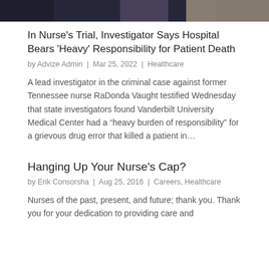[Figure (photo): Partial photo visible at top of page, dark background with some colors]
In Nurse’s Trial, Investigator Says Hospital Bears ‘Heavy’ Responsibility for Patient Death
by Advize Admin | Mar 25, 2022 | Healthcare
A lead investigator in the criminal case against former Tennessee nurse RaDonda Vaught testified Wednesday that state investigators found Vanderbilt University Medical Center had a “heavy burden of responsibility” for a grievous drug error that killed a patient in…
Hanging Up Your Nurse’s Cap?
by Erik Consorsha | Aug 25, 2016 | Careers, Healthcare
Nurses of the past, present, and future; thank you. Thank you for your dedication to providing care and